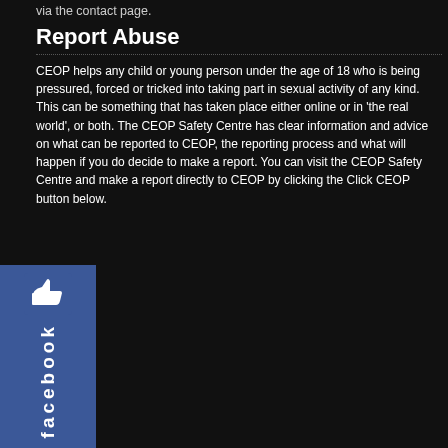via the contact page.
Report Abuse
CEOP helps any child or young person under the age of 18 who is being pressured, forced or tricked into taking part in sexual activity of any kind. This can be something that has taken place either online or in 'the real world', or both. The CEOP Safety Centre has clear information and advice on what can be reported to CEOP, the reporting process and what will happen if you do decide to make a report. You can visit the CEOP Safety Centre and make a report directly to CEOP by clicking the Click CEOP button below.
[Figure (logo): Click CEOP internet safety button with red and blue shield logo]
[Figure (logo): Facebook like/thumbs up sidebar widget]
Archives
August 2022
July 2022
May 2022
April 2022
March 2022
February 2022
January 2022
December 2021
November 2021
October 2021
September 2021
August 2021
July 2021
June 2021
May 2021
April 2021
March 2021
February 2021
January 2021
December 2020
November 2020
October 2020